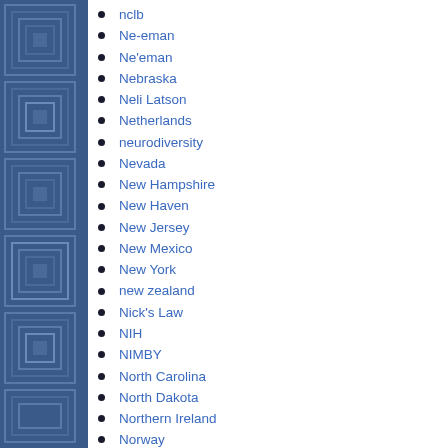nclb
Ne-eman
Ne'eman
Nebraska
Neli Latson
Netherlands
neurodiversity
Nevada
New Hampshire
New Haven
New Jersey
New Mexico
New York
new zealand
Nick's Law
NIH
NIMBY
North Carolina
North Dakota
Northern Ireland
Norway
nutrition